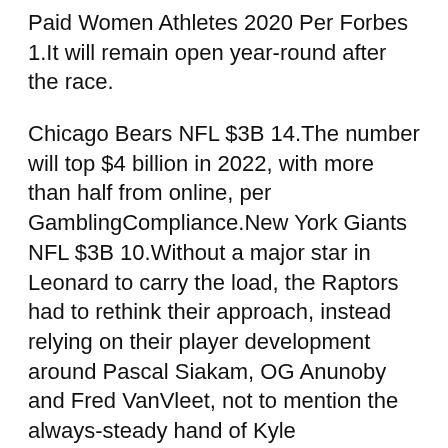Paid Women Athletes 2020 Per Forbes 1.It will remain open year-round after the race.
Chicago Bears NFL $3B 14.The number will top $4 billion in 2022, with more than half from online, per GamblingCompliance.New York Giants NFL $3B 10.Without a major star in Leonard to carry the load, the Raptors had to rethink their approach, instead relying on their player development around Pascal Siakam, OG Anunoby and Fred VanVleet, not to mention the always-steady hand of Kyle Lowry.According to a report compiled by VisitDallas, the 2018 Draft generated $125 million in economic impact for the Dallas region during the 3-day event, including $74 million in direct spending.